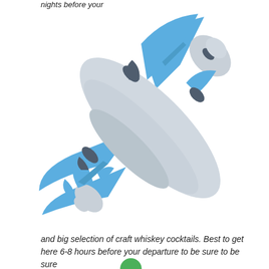nights before your
[Figure (illustration): Flat style airplane emoji illustration, viewed from above at a diagonal angle, with a light gray fuselage, blue wings and tail, and dark gray engine nacelles/winglets. The plane is oriented pointing upper-right.]
and big selection of craft whiskey cocktails. Best to get here 6-8 hours before your departure to be sure to be sure